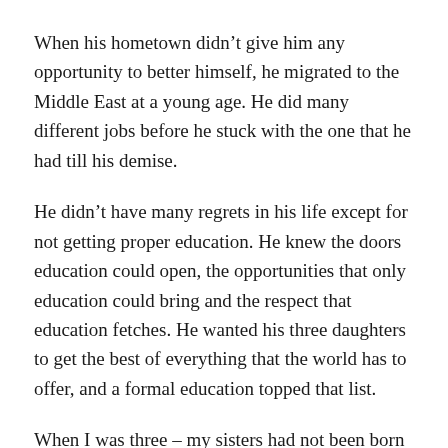When his hometown didn’t give him any opportunity to better himself, he migrated to the Middle East at a young age. He did many different jobs before he stuck with the one that he had till his demise.
He didn’t have many regrets in his life except for not getting proper education. He knew the doors education could open, the opportunities that only education could bring and the respect that education fetches. He wanted his three daughters to get the best of everything that the world has to offer, and a formal education topped that list.
When I was three – my sisters had not been born by then – I was admitted to one of the best CBSE schools nearby. My Umma still recounts the story of how people, including some relatives, were against that move. But my Uppa was sure, and nothing